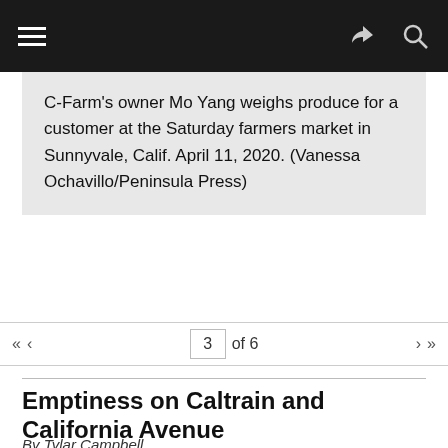Navigation bar with menu, share, and search icons
C-Farm's owner Mo Yang weighs produce for a customer at the Saturday farmers market in Sunnyvale, Calif. April 11, 2020. (Vanessa Ochavillo/Peninsula Press)
« ‹  3  of 6  › »
Emptiness on Caltrain and California Avenue
By Tylar Campbell
This notebook explores how people are navigating the world around them in the wake of the COVID-19 pandemic. Photos taken on April 16, 2020 of California Avenue reveals the emptiness and lack of people riding